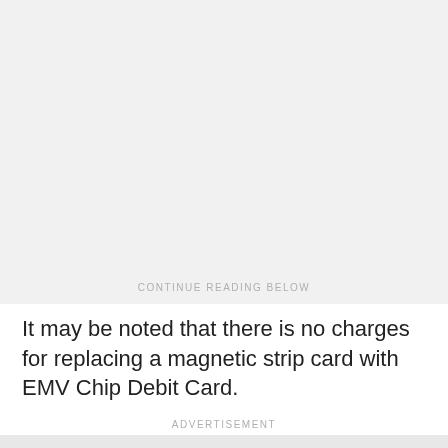CONTINUE READING BELOW
It may be noted that there is no charges for replacing a magnetic strip card with EMV Chip Debit Card.
ADVERTISEMENT